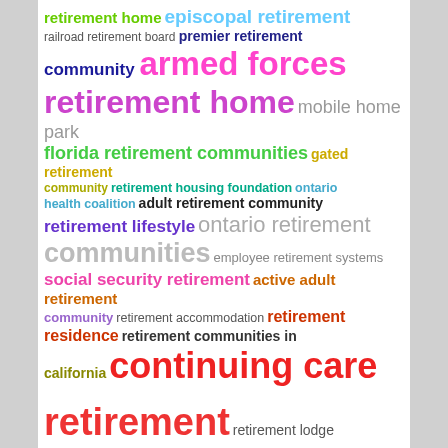[Figure (infographic): Word cloud about retirement topics. Terms appear in various colors and font sizes. Includes: retirement home, episcopal retirement, railroad retirement board, premier retirement, community, armed forces, retirement home, mobile home park, florida retirement communities, gated retirement, community retirement housing foundation, ontario health coalition, adult retirement community, retirement lifestyle, ontario retirement communities, employee retirement systems, social security retirement, active adult retirement community, retirement accommodation, retirement residence, retirement communities in california, continuing care, retirement, retirement lodge, continuing care retirement]